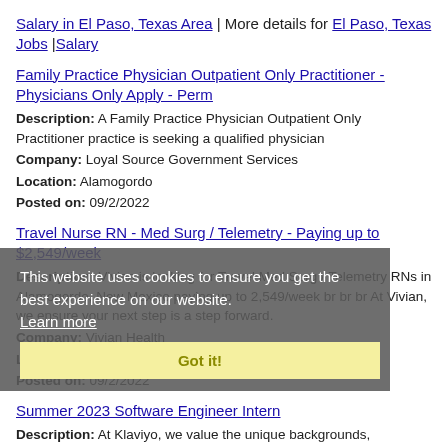Salary in El Paso, Texas Area | More details for El Paso, Texas Jobs |Salary
Family Practice Physician Outpatient Only Practitioner - Physicians Only Apply - Perm
Description: A Family Practice Physician Outpatient Only Practitioner practice is seeking a qualified physician
Company: Loyal Source Government Services
Location: Alamogordo
Posted on: 09/2/2022
Travel Nurse RN - Med Surg / Telemetry - Paying up to $2,549/week
Description: Vivian is looking for Travel Med Surg / Telemetry RNs in Alamogordo, New Mexico paying up to 2,549/week br br br At Vivian, we ensure your next step is a step forward.
Company: Vivian Health
Location: Alamogordo
Posted on: 09/2/2022
Summer 2023 Software Engineer Intern
Description: At Klaviyo, we value the unique backgrounds, experiences and perspectives each Klaviyo we call ourselves